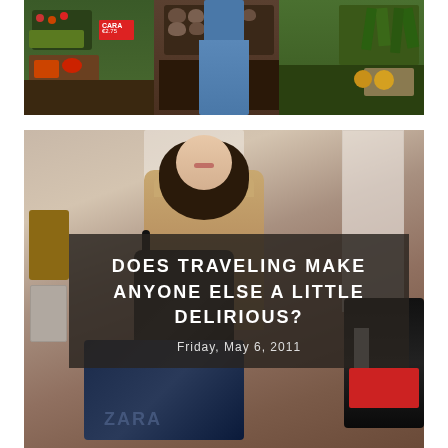[Figure (photo): Top photo: outdoor market stall scene with produce (vegetables, tomatoes, greens) visible; a person in blue jeans stands in the center background]
[Figure (photo): Bottom photo: a young woman with dark hair wearing a tan/beige jacket, holding a black handbag and a large navy ZARA shopping bag; interior room with window light and a chair visible in background; dark overlay box in lower portion with text 'DOES TRAVELING MAKE ANYONE ELSE A LITTLE DELIRIOUS?' and date 'Friday, May 6, 2011']
DOES TRAVELING MAKE ANYONE ELSE A LITTLE DELIRIOUS?
Friday, May 6, 2011